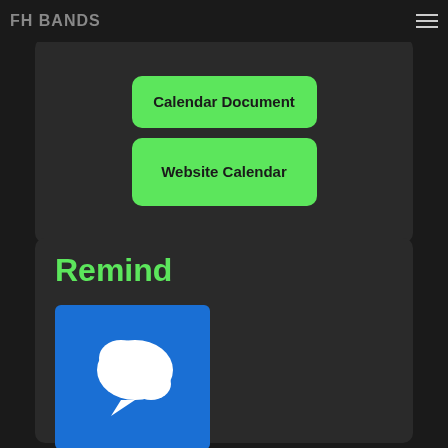FH BANDS
Calendar Document
Website Calendar
Remind
[Figure (logo): Remind app logo — white speech bubble icon on blue background]